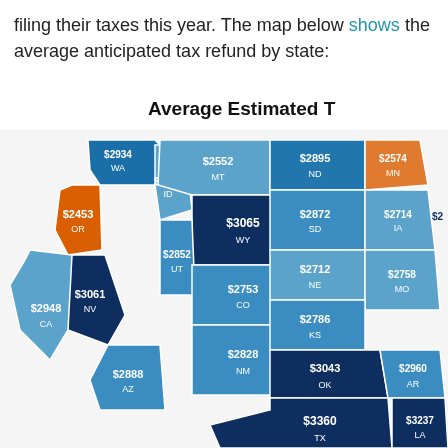filing their taxes this year. The map below shows the average anticipated tax refund by state:
[Figure (map): Choropleth map of the United States showing average estimated tax refund by state. States are colored in shades of blue (medium to dark) and orange. Visible state values: WA $2934, OR $2453, CA $2948, NV $3061, ID $2683, MT $2552, WY $3065, UT $2852, AZ $2888, NM $2828, CO $2753, ND $2895, SD $2872, NE $2712, KS $2786, OK $3043, TX $3360, MN $2574, IA $2714, MO $2758, AR $2960, LA $3237 (partial).]